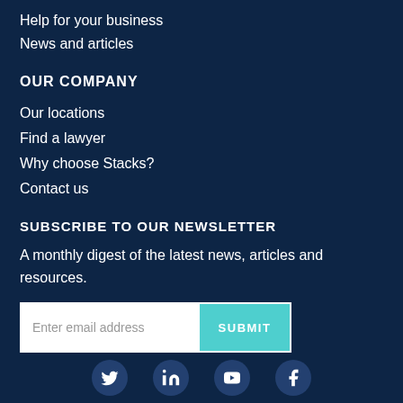Help for your business
News and articles
OUR COMPANY
Our locations
Find a lawyer
Why choose Stacks?
Contact us
SUBSCRIBE TO OUR NEWSLETTER
A monthly digest of the latest news, articles and resources.
[Figure (other): Email subscription form with text input 'Enter email address' and a teal SUBMIT button]
[Figure (other): Social media icons: Twitter, LinkedIn, YouTube, Facebook]